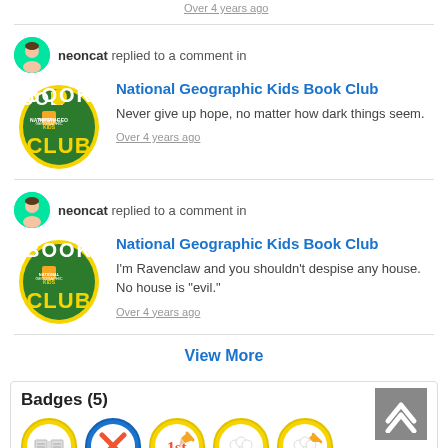Over 4 years ago
neoncat replied to a comment in
[Figure (logo): National Geographic Kids Book Club logo - green oval with BOOK on top and CLUB on bottom in white/yellow text]
National Geographic Kids Book Club
Never give up hope, no matter how dark things seem.
Over 4 years ago
neoncat replied to a comment in
[Figure (logo): National Geographic Kids Book Club logo - green oval with BOOK on top and CLUB on bottom in white/yellow text]
National Geographic Kids Book Club
I'm Ravenclaw and you shouldn't despise any house. No house is "evil."
Over 4 years ago
View More
Badges (5)
[Figure (illustration): Row of 5 badge icons: open book badge, red X badge, 1st place writing badge, popcorn badge, popcorn badge with pencil]